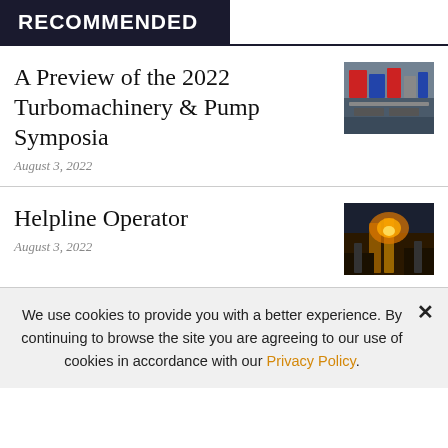RECOMMENDED
A Preview of the 2022 Turbomachinery & Pump Symposia
August 3, 2022
[Figure (photo): Industrial machinery/equipment at an exhibition or symposia event]
Helpline Operator
August 3, 2022
[Figure (photo): Industrial facility interior with orange/warm lighting, possibly a plant or factory]
We use cookies to provide you with a better experience. By continuing to browse the site you are agreeing to our use of cookies in accordance with our Privacy Policy.